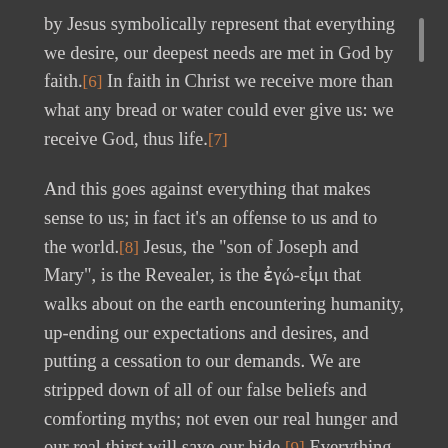by Jesus symbolically represent that everything we desire, our deepest needs are met in God by faith.[6] In faith in Christ we receive more than what any bread or water could ever give us: we receive God, thus life.[7]
And this goes against everything that makes sense to us; in fact it's an offense to us and to the world.[8] Jesus, the "son of Joseph and Mary", is the Revealer, is the ἐγώ-εἰμι that walks about on the earth encountering humanity, up-ending our expectations and desires, and putting a cessation to our demands. We are stripped down of all of our false beliefs and comforting myths; not even our real hunger and our real thirst will save our hide.[9] Everything we are striving after is as if we are striving after the wind. We need the real manna[10] (cf. Ex. 16) from heaven and the waters from the real Rock (cf. Ex. 17): "...the bread [and water] of God is the Revealer who comes from heaven and